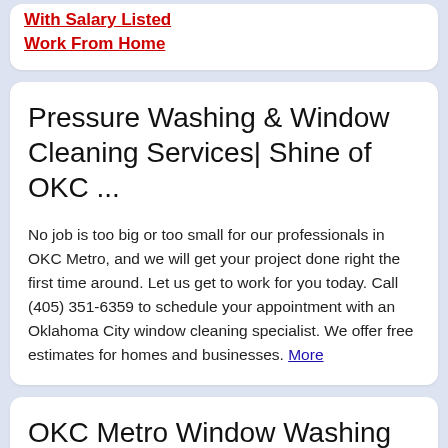With Salary Listed
Work From Home
Pressure Washing & Window Cleaning Services| Shine of OKC ...
No job is too big or too small for our professionals in OKC Metro, and we will get your project done right the first time around. Let us get to work for you today. Call (405) 351-6359 to schedule your appointment with an Oklahoma City window cleaning specialist. We offer free estimates for homes and businesses. More
OKC Metro Window Washing Service | Shine of OKC Metro